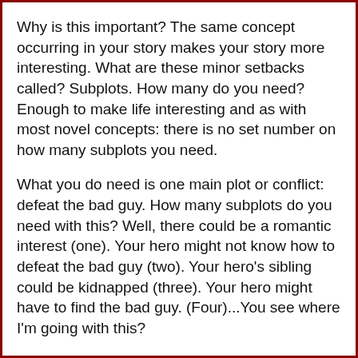Why is this important? The same concept occurring in your story makes your story more interesting. What are these minor setbacks called? Subplots. How many do you need? Enough to make life interesting and as with most novel concepts: there is no set number on how many subplots you need.
What you do need is one main plot or conflict: defeat the bad guy. How many subplots do you need with this? Well, there could be a romantic interest (one). Your hero might not know how to defeat the bad guy (two). Your hero's sibling could be kidnapped (three). Your hero might have to find the bad guy. (Four)...You see where I'm going with this?
The fun part is there could be conflicts within those subplots. The love interest of your hero might be working for the bad guy (one-a). The hero might have to find a special relic to defeat the bad guy and learn how to use said relic (two a and two b). Your hero's sibling could be part of a bigger problem (three a) Your bad guy might be able to travel between four different worlds (four a, b, c, and d). You see how subplots can get complicated?